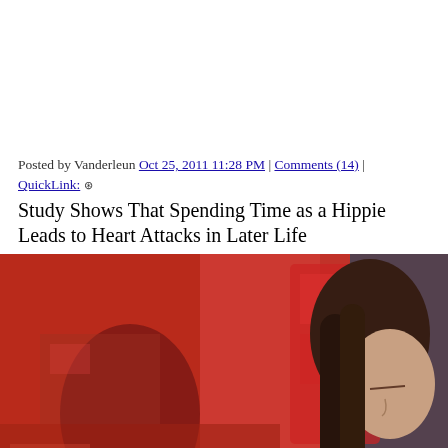Posted by Vanderleun Oct 25, 2011 11:28 PM | Comments (14) | QuickLink: ⊕
Study Shows That Spending Time as a Hippie Leads to Heart Attacks in Later Life
[Figure (photo): A vintage 1960s-70s era photograph showing a young person with long dark hair in profile, eyes closed, wearing a dark turtleneck sweater. Background shows red urban/street scene with reflections in glass.]